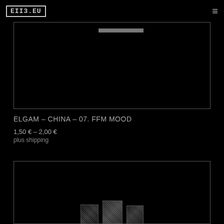EII3.EU
[Figure (photo): Dark album cover or product image, mostly black with a faint horizontal white/grey bar in the upper portion, contained within a rectangular border]
ELGAM – CHINA – 07. FFM MOOD
1,50 € – 2,00 €
plus shipping
[Figure (photo): Dark product photo showing what appear to be record sleeves or physical music releases on a black background, partially visible at bottom of page]